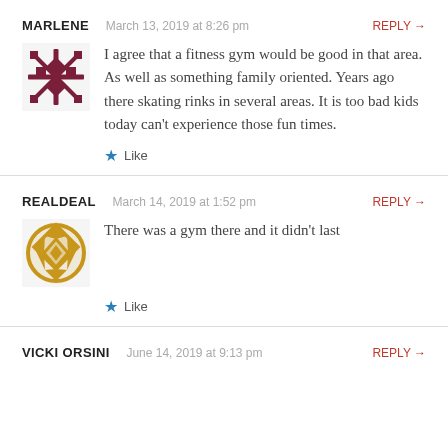MARLENE   March 13, 2019 at 8:26 pm   REPLY →
I agree that a fitness gym would be good in that area. As well as something family oriented. Years ago there skating rinks in several areas. It is too bad kids today can't experience those fun times.
★ Like
REALDEAL   March 14, 2019 at 1:52 pm   REPLY →
There was a gym there and it didn't last
★ Like
VICKI ORSINI   June 14, 2019 at 9:13 pm   REPLY →